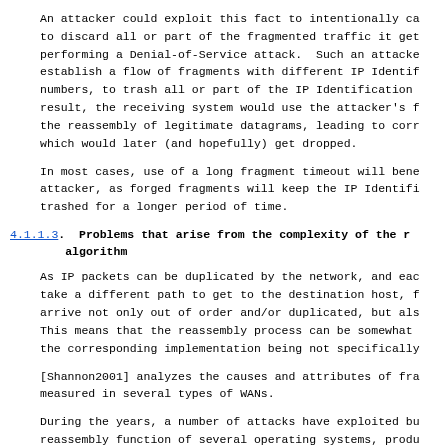An attacker could exploit this fact to intentionally ca to discard all or part of the fragmented traffic it get performing a Denial-of-Service attack.  Such an attacke establish a flow of fragments with different IP Identif numbers, to trash all or part of the IP Identification result, the receiving system would use the attacker's f the reassembly of legitimate datagrams, leading to corr which would later (and hopefully) get dropped.
In most cases, use of a long fragment timeout will bene attacker, as forged fragments will keep the IP Identifi trashed for a longer period of time.
4.1.1.3.  Problems that arise from the complexity of the r algorithm
As IP packets can be duplicated by the network, and eac take a different path to get to the destination host, f arrive not only out of order and/or duplicated, but als This means that the reassembly process can be somewhat the corresponding implementation being not specifically
[Shannon2001] analyzes the causes and attributes of fra measured in several types of WANs.
During the years, a number of attacks have exploited bu reassembly function of several operating systems, produ overflows that have led, in most cases, to a crash of t system.